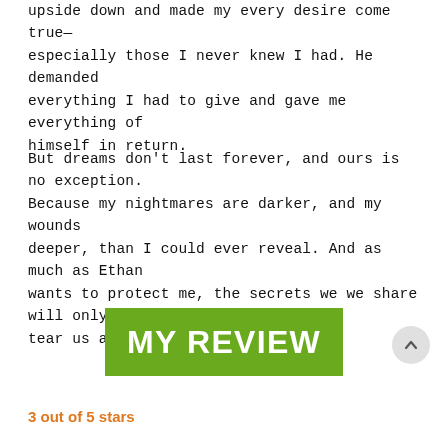upside down and made my every desire come true—especially those I never knew I had. He demanded everything I had to give and gave me everything of himself in return.
But dreams don't last forever, and ours is no exception. Because my nightmares are darker, and my wounds deeper, than I could ever reveal. And as much as Ethan wants to protect me, the secrets we we share will only tear us apart.
[Figure (other): Green banner with bold white text reading MY REVIEW]
3 out of 5 stars